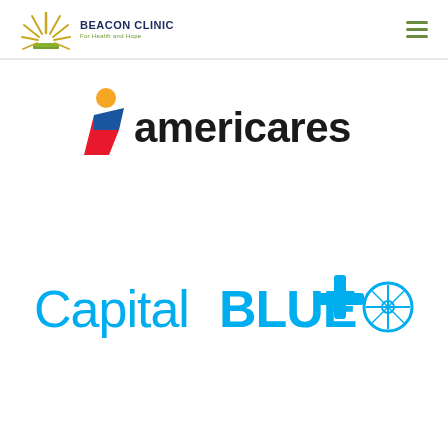[Figure (logo): Beacon Clinic For Health and Hope logo with sunburst icon in olive/yellow and text in navy and green]
[Figure (logo): Americares logo with red and blue person/flag icon and bold black americares text]
[Figure (logo): Capital Blue Cross logo in cyan/blue with plus sign and circular emblem]